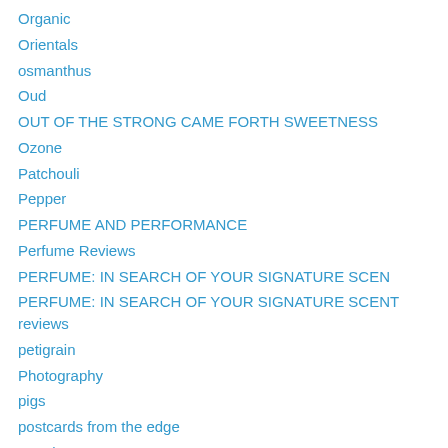Organic
Orientals
osmanthus
Oud
OUT OF THE STRONG CAME FORTH SWEETNESS
Ozone
Patchouli
Pepper
PERFUME AND PERFORMANCE
Perfume Reviews
PERFUME: IN SEARCH OF YOUR SIGNATURE SCEN
PERFUME: IN SEARCH OF YOUR SIGNATURE SCENT reviews
petigrain
Photography
pigs
postcards from the edge
Powder
pretentious aesthetes
Prune
Psychodrama